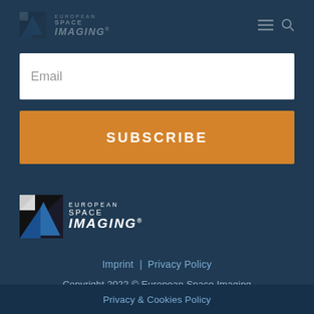[Figure (logo): European Space Imaging logo faded in navigation bar background]
Email
SUBSCRIBE
[Figure (logo): European Space Imaging logo with blue triangle icon and white text]
Imprint | Privacy Policy
Copyright 2022 © European Space Imaging
Privacy & Cookies Policy